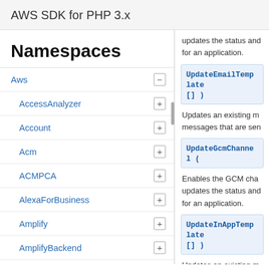AWS SDK for PHP 3.x
Namespaces
Aws
AccessAnalyzer
Account
Acm
ACMPCA
AlexaForBusiness
Amplify
AmplifyBackend
AmplifyUIBuilder
Api
ApiGateway
ApiGatewayManagementApi
updates the status and for an application.
UpdateEmailTemplate ( [] )
Updates an existing m messages that are sen
UpdateGcmChannel (
Enables the GCM cha updates the status and for an application.
UpdateInAppTemplate ( [] )
Updates an existing m messages sent through channel.
UpdateJourney ( arr